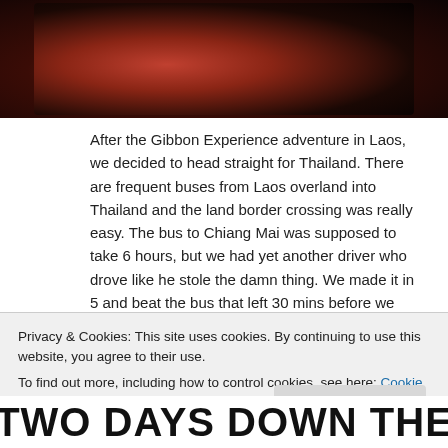[Figure (photo): Dark photo of people's faces with reddish lighting against a dark background]
After the Gibbon Experience adventure in Laos, we decided to head straight for Thailand. There are frequent buses from Laos overland into Thailand and the land border crossing was really easy. The bus to Chiang Mai was supposed to take 6 hours, but we had yet another driver who drove like he stole the damn thing. We made it in 5 and beat the bus that left 30 mins before we did.
Continue reading →
Posted on November 4, 2014
Privacy & Cookies: This site uses cookies. By continuing to use this website, you agree to their use.
To find out more, including how to control cookies, see here: Cookie Policy
Close and accept
TWO DAYS DOWN THE